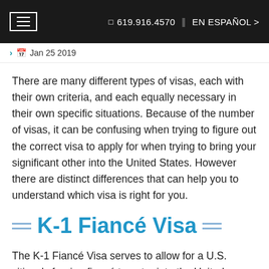☰  619.916.4570 ‖ EN ESPAÑOL >
> 📅 Jan 25 2019
There are many different types of visas, each with their own criteria, and each equally necessary in their own specific situations. Because of the number of visas, it can be confusing when trying to figure out the correct visa to apply for when trying to bring your significant other into the United States. However there are distinct differences that can help you to understand which visa is right for you.
K-1 Fiancé Visa
The K-1 Fiancé Visa serves to allow for a U.S. citizen's foreign fiancé to enter into the United States for the purpose of getting married within 90 days of entrance. K-1 Visas, which usually take 5 to 7 months from the time that the